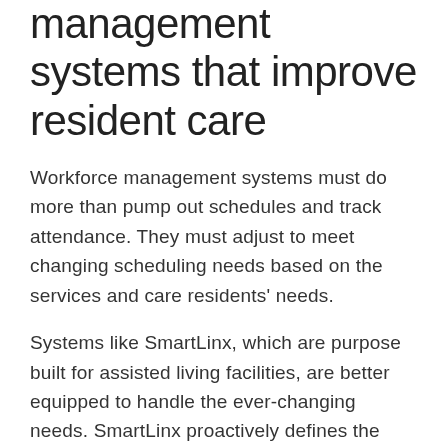management systems that improve resident care
Workforce management systems must do more than pump out schedules and track attendance. They must adjust to meet changing scheduling needs based on the services and care residents' needs.
Systems like SmartLinx, which are purpose built for assisted living facilities, are better equipped to handle the ever-changing needs. SmartLinx proactively defines the best staffing level based on